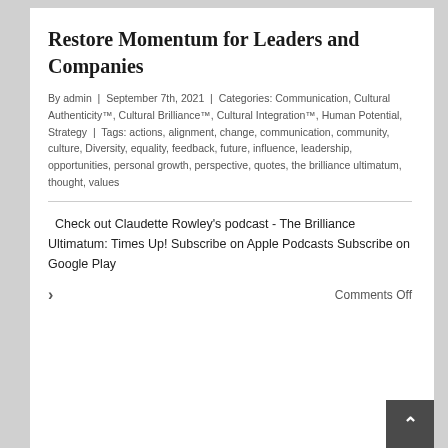Restore Momentum for Leaders and Companies
By admin | September 7th, 2021 | Categories: Communication, Cultural Authenticity™, Cultural Brilliance™, Cultural Integration™, Human Potential, Strategy | Tags: actions, alignment, change, communication, community, culture, Diversity, equality, feedback, future, influence, leadership, opportunities, personal growth, perspective, quotes, the brilliance ultimatum, thought, values
Check out Claudette Rowley's podcast - The Brilliance Ultimatum: Times Up! Subscribe on Apple Podcasts Subscribe on Google Play
Comments Off